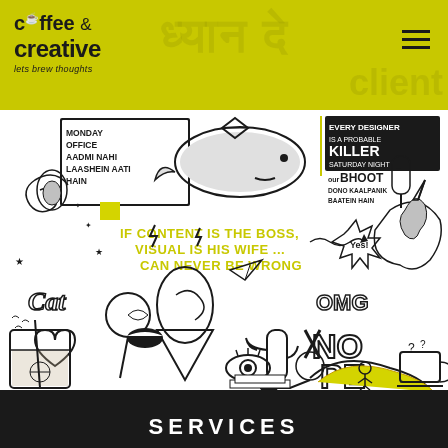[Figure (logo): Coffee & Creative logo with tagline 'lets brew thoughts' on yellow-green header bar]
[Figure (illustration): Black and white doodle illustration covering the main body of the page, containing various hand-drawn elements: whale, ice cream cone, cactus, unicorn, banana, coffee cup, heart, lollipop, eye, paper plane, and text doodles. Featured text includes: 'MONDAY OFFICE AADMI NAHI LAASHEIN AATI HAIN', 'EVERY DESIGNER IS A PROBABLE KILLER SATURDAY NIGHT', 'OUR BHOOT DONO KAALPANIK BAATEIN HAIN', 'IF CONTENT IS THE BOSS, VISUAL IS HIS WIFE... CAN NEVER BE WRONG', 'OMG', 'NOPE', 'Cat', 'Yes!']
SERVICES